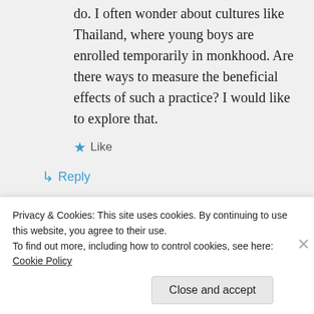do. I often wonder about cultures like Thailand, where young boys are enrolled temporarily in monkhood. Are there ways to measure the beneficial effects of such a practice? I would like to explore that.
★ Like
↳ Reply
Mark Dohle on August 2, 2018 at 10:38 pm
Privacy & Cookies: This site uses cookies. By continuing to use this website, you agree to their use.
To find out more, including how to control cookies, see here: Cookie Policy
Close and accept